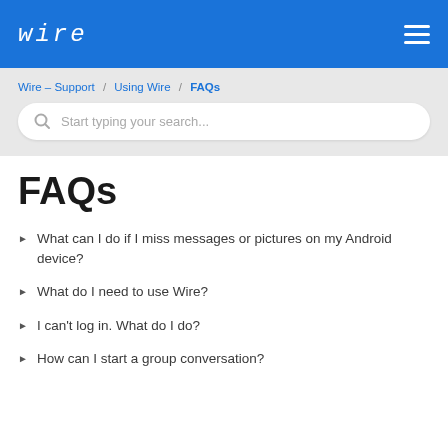wire
Wire – Support / Using Wire / FAQs
Start typing your search...
FAQs
What can I do if I miss messages or pictures on my Android device?
What do I need to use Wire?
I can't log in. What do I do?
How can I start a group conversation?